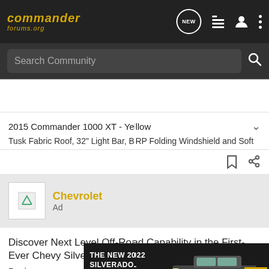commander forums.org
Search Community
2015 Commander 1000 XT - Yellow
Tusk Fabric Roof, 32" Light Bar, BRP Folding Windshield and Soft
Chevrolet
Ad
Discover Next Level Off-Road Capability in the First-Ever Chevy Silverado ZR2
Designed so you can pow
[Figure (screenshot): The New 2022 Silverado advertisement banner with Chevrolet truck and Explore button]